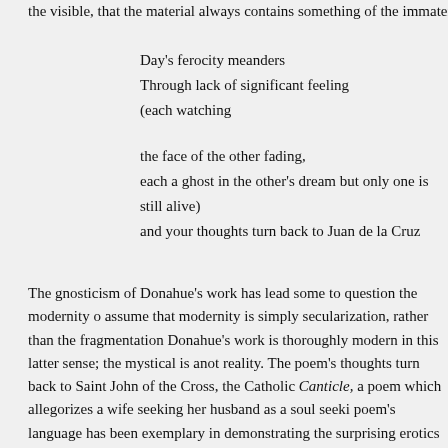the visible, that the material always contains something of the immaterial, as
Day's ferocity meanders
Through lack of significant feeling
(each watching

the face of the other fading,
each a ghost in the other's dream but only one is still alive)
and your thoughts turn back to Juan de la Cruz
The gnosticism of Donahue's work has lead some to question the modernity o assume that modernity is simply secularization, rather than the fragmentation Donahue's work is thoroughly modern in this latter sense; the mystical is anot reality. The poem's thoughts turn back to Saint John of the Cross, the Catholic Canticle, a poem which allegorizes a wife seeking her husband as a soul seeki poem's language has been exemplary in demonstrating the surprising erotics o referred to as "Beloved" throughout. In Donahue's "Desire," the search and lo transform into someone searching for his other, "each a ghost in the other's dr never be able to complete the speaking subject.